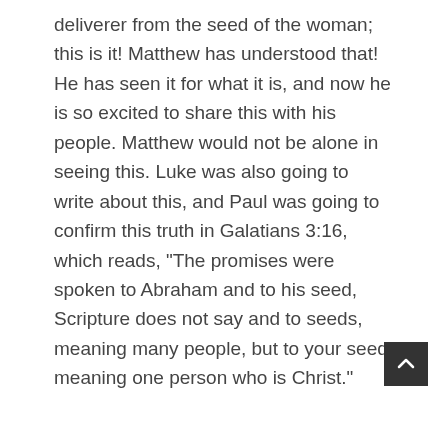deliverer from the seed of the woman; this is it! Matthew has understood that! He has seen it for what it is, and now he is so excited to share this with his people. Matthew would not be alone in seeing this. Luke was also going to write about this, and Paul was going to confirm this truth in Galatians 3:16, which reads, "The promises were spoken to Abraham and to his seed, Scripture does not say and to seeds, meaning many people, but to your seed, meaning one person who is Christ."
The authors of the Gospels, Paul, and the early Church understood this, that all of the promises that God had made were found in this one man, Jesus Christ, who was fully man, fully God, the lion of the tribe of Judah who had come to prevail, and He was going to reign